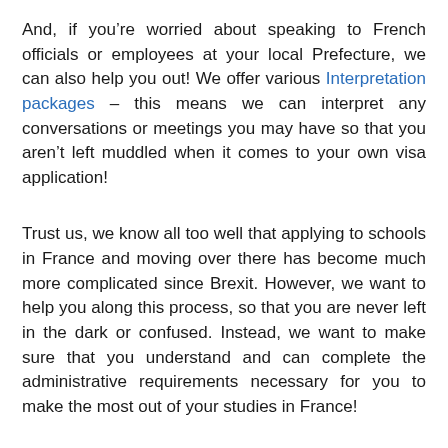And, if you're worried about speaking to French officials or employees at your local Prefecture, we can also help you out! We offer various Interpretation packages – this means we can interpret any conversations or meetings you may have so that you aren't left muddled when it comes to your own visa application!
Trust us, we know all too well that applying to schools in France and moving over there has become much more complicated since Brexit. However, we want to help you along this process, so that you are never left in the dark or confused. Instead, we want to make sure that you understand and can complete the administrative requirements necessary for you to make the most out of your studies in France!